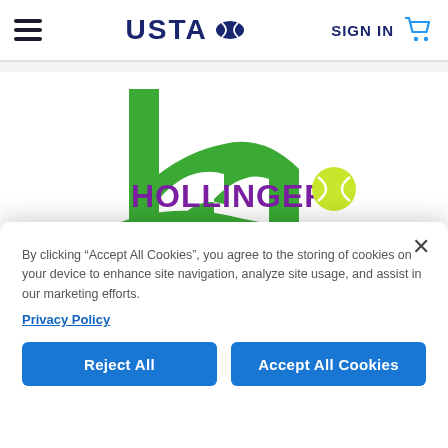USTA navigation bar with hamburger menu, USTA logo, SIGN IN, and cart icon
[Figure (logo): Hollinger Tennis logo — large green stylized 'h' letterform with purple 'HOLLINGER' text, green crossbar, purple/green 'TENNIS' text, yellow-green tennis ball, tagline 'PLAY THE CLAY' in black]
By clicking “Accept All Cookies”, you agree to the storing of cookies on your device to enhance site navigation, analyze site usage, and assist in our marketing efforts.
Privacy Policy
Reject All
Accept All Cookies